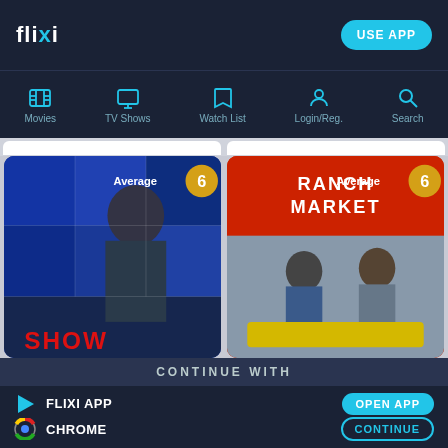flixi  USE APP
[Figure (screenshot): Navigation bar with icons for Movies, TV Shows, Watch List, Login/Reg., Search]
[Figure (screenshot): Movie card left: man in suit, Average rating 6, title SHOW]
[Figure (screenshot): Movie card right: Ranch Market backdrop, two people sitting, Average rating 6]
CONTINUE WITH
FLIXI APP
OPEN APP
CHROME
CONTINUE